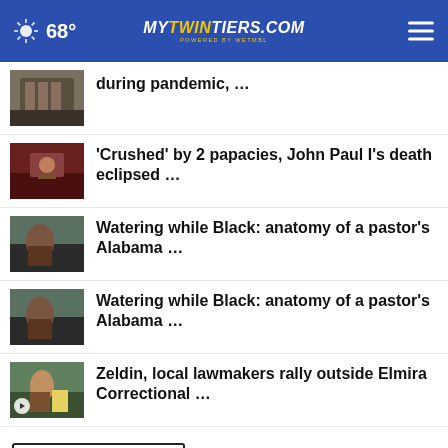68° mytwintiers.com
during pandemic, …
'Crushed' by 2 papacies, John Paul I's death eclipsed …
Watering while Black: anatomy of a pastor's Alabama …
Watering while Black: anatomy of a pastor's Alabama …
Zeldin, local lawmakers rally outside Elmira Correctional …
More Stories >